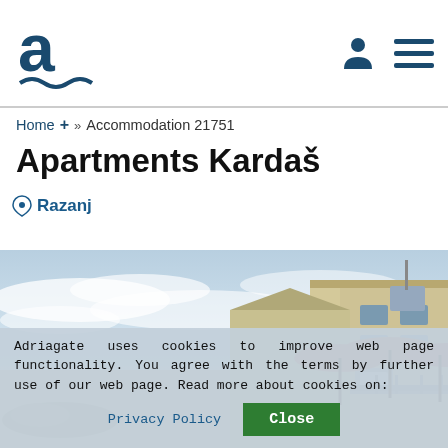Adriagate logo and navigation
Home + » Accommodation 21751
Apartments Kardaš
Razanj
[Figure (photo): Exterior photo of Apartments Kardaš showing building facade with terrace, patio umbrellas (salmon/pink colored), and a blue sky with clouds in background]
Adriagate uses cookies to improve web page functionality. You agree with the terms by further use of our web page. Read more about cookies on:
Privacy Policy  Close